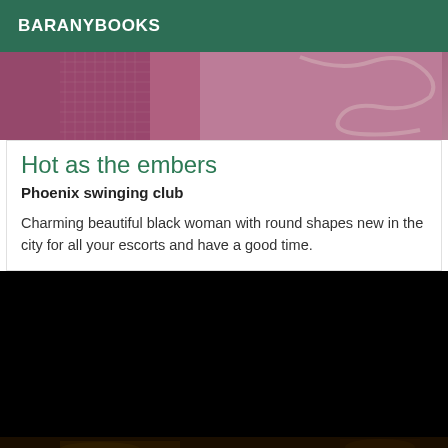BARANYBOOKS
[Figure (photo): Partial view of a person, cropped image with pink/purple tones, appears to show fishnet texture and rope-like elements]
Hot as the embers
Phoenix swinging club
Charming beautiful black woman with round shapes new in the city for all your escorts and have a good time.
[Figure (photo): Mostly black/dark image with a faint hint of a scene at the very bottom edge]